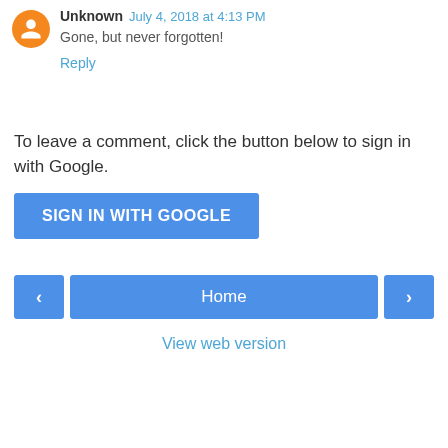Unknown  July 4, 2018 at 4:13 PM
Gone, but never forgotten!
Reply
To leave a comment, click the button below to sign in with Google.
[Figure (other): SIGN IN WITH GOOGLE button — blue rectangular button with white uppercase text]
[Figure (other): Navigation bar with left arrow button, Home button, and right arrow button]
View web version